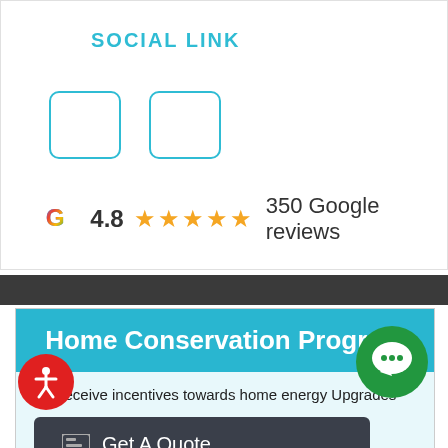SOCIAL LINK
[Figure (other): Two empty social media icon placeholder boxes with cyan borders]
4.8 ★★★★★ 350 Google reviews
Home Conservation Program
Receive incentives towards home energy Upgrades
Get A Quote
This Program is delivered by Enbridge Gas